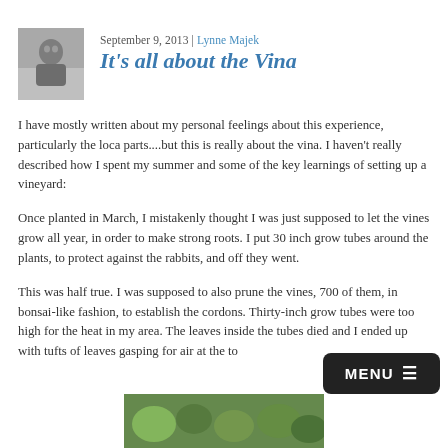[Figure (photo): Black and white photo of a person, author portrait thumbnail]
September 9, 2013 | Lynne Majek
It's all about the Vina
I have mostly written about my personal feelings about this experience, particularly the loca parts....but this is really about the vina.  I haven't really described how I spent my summer and some of the key learnings of setting up a vineyard:
Once planted in March, I mistakenly thought I was just supposed to let the vines grow all year, in order to make strong roots.  I put 30 inch grow tubes around the plants, to protect against the rabbits, and off they went.
This was half true.  I was supposed to also prune the vines, 700 of them, in bonsai-like fashion, to establish the cordons.  Thirty-inch grow tubes were too high for the heat in my area.  The leaves inside the tubes died and I ended up with tufts of leaves gasping for air at the to
[Figure (photo): Partial photo visible at bottom of page showing green leaves/vineyard]